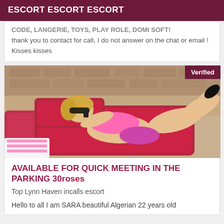ESCORT ESCORT ESCORT
CODE, LANGERIE, TOYS, PLAY ROLE, DOMI SOFT! thank you to contact for call, I do not answer on the chat or email ! Kisses kisses
[Figure (photo): Person in pink bikini lying on a red lounge chair outdoors, with a 'Verified' badge in the top-right corner]
AVAILABLE FOR QUICK MEETING IN THE PARKING 30roses
Top Lynn Haven incalls escort
Hello to all I am SARA beautiful Algerian 22 years old